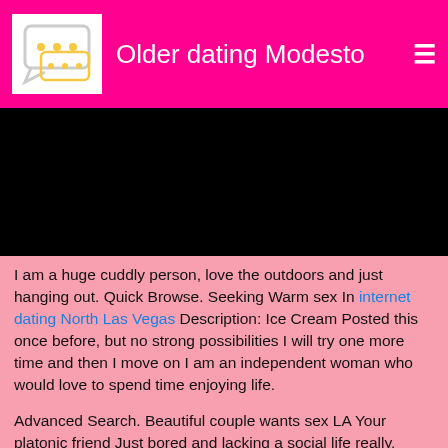Older dating Modesto
[Figure (photo): Black image/video area]
I am a huge cuddly person, love the outdoors and just hanging out. Quick Browse. Seeking Warm sex In internet dating North Las Vegas Description: Ice Cream Posted this once before, but no strong possibilities I will try one more time and then I move on I am an independent woman who would love to spend time enjoying life.
Advanced Search. Beautiful couple wants sex LA Your platonic friend Just bored and lacking a social life really.